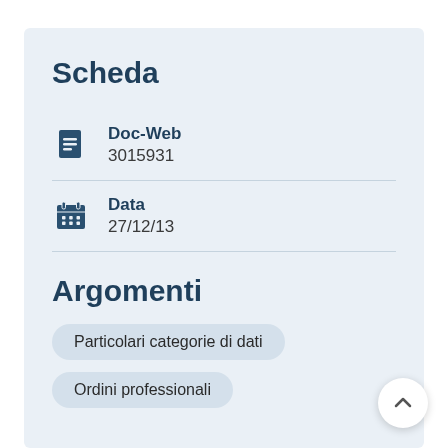Scheda
Doc-Web
3015931
Data
27/12/13
Argomenti
Particolari categorie di dati
Ordini professionali